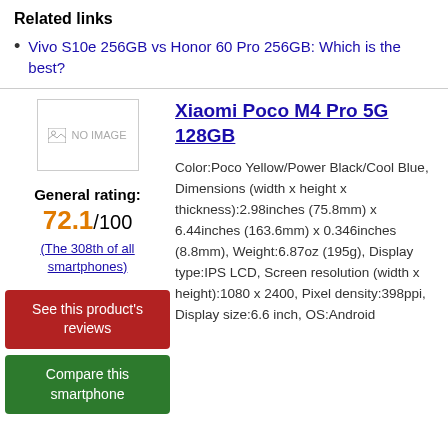Related links
Vivo S10e 256GB vs Honor 60 Pro 256GB: Which is the best?
Xiaomi Poco M4 Pro 5G 128GB
[Figure (photo): No image placeholder for Xiaomi Poco M4 Pro 5G 128GB]
General rating: 72.1/100
(The 308th of all smartphones)
Color:Poco Yellow/Power Black/Cool Blue, Dimensions (width x height x thickness):2.98inches (75.8mm) x 6.44inches (163.6mm) x 0.346inches (8.8mm), Weight:6.87oz (195g), Display type:IPS LCD, Screen resolution (width x height):1080 x 2400, Pixel density:398ppi, Display size:6.6 inch, OS:Android
See this product's reviews
Compare this smartphone